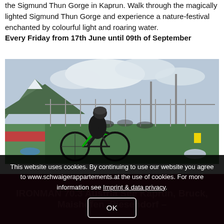the Sigmund Thun Gorge in Kaprun. Walk through the magically lighted Sigmund Thun Gorge and experience a nature-festival enchanted by colourful light and roaring water.
Every Friday from 17th June until 09th of September
...
[Figure (photo): A triathlete in a black and green cycling kit on an aero bike at a transition area, with mountains and cloudy sky in the background, race infrastructure visible.]
This website uses cookies. By continuing to use our website you agree to www.schwaigerappartements.at the use of cookies. For more information see Imprint & data privacy.
IRONMAN 70.3 Austria See Kaprun, Bruck, Maishofen, Piesendorf -